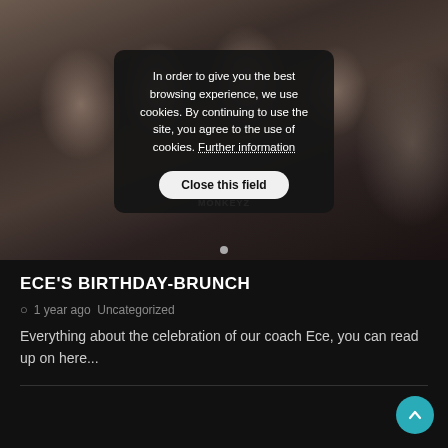[Figure (photo): Group photo of several smiling young people sitting together, with a cookie consent overlay modal on top. A 'CRAZY INIMITABLE MONKEYZ' brand text is visible in the lower portion of the photo. A slider dot indicator is at the bottom of the image area.]
In order to give you the best browsing experience, we use cookies. By continuing to use the site, you agree to the use of cookies. Further information
Close this field
ECE'S BIRTHDAY-BRUNCH
1 year ago  Uncategorized
Everything about the celebration of our coach Ece, you can read up on here...